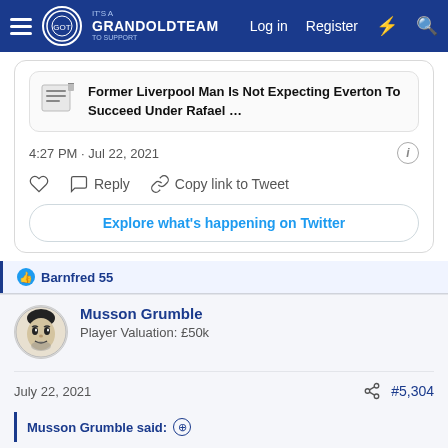GrandOldTeam — Log in  Register
[Figure (screenshot): Embedded tweet link preview: 'Former Liverpool Man Is Not Expecting Everton To Succeed Under Rafael …']
4:27 PM · Jul 22, 2021
Reply  Copy link to Tweet
Explore what's happening on Twitter
Barnfred 55
Musson Grumble
Player Valuation: £50k
July 22, 2021  #5,304
Musson Grumble said: ⊕